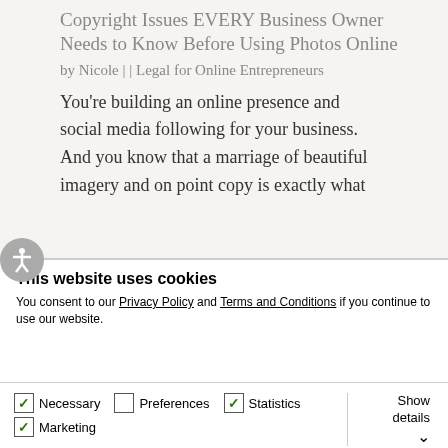Copyright Issues EVERY Business Owner Needs to Know Before Using Photos Online
by Nicole | | Legal for Online Entrepreneurs
You're building an online presence and social media following for your business. And you know that a marriage of beautiful imagery and on point copy is exactly what
This website uses cookies
You consent to our Privacy Policy and Terms and Conditions if you continue to use our website.
Allow all cookies
Allow selection
Use necessary cookies only
Necessary   Preferences   Statistics   Marketing   Show details